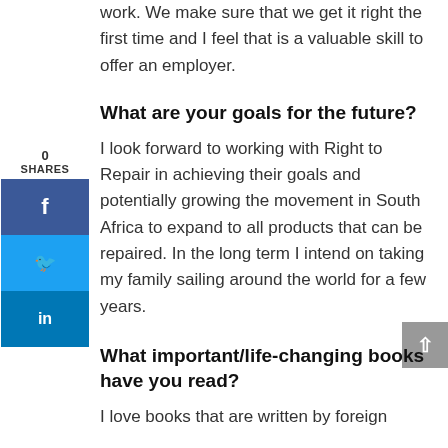work. We make sure that we get it right the first time and I feel that is a valuable skill to offer an employer.
What are your goals for the future?
I look forward to working with Right to Repair in achieving their goals and potentially growing the movement in South Africa to expand to all products that can be repaired. In the long term I intend on taking my family sailing around the world for a few years.
What important/life-changing books have you read?
I love books that are written by foreign